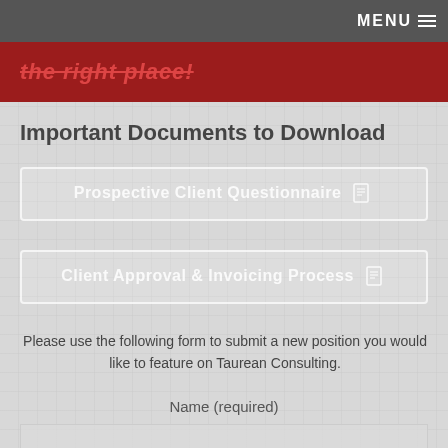MENU
the right place!
Important Documents to Download
Prospective Client Questionnaire
Client Approval & Invoicing Process
Please use the following form to submit a new position you would like to feature on Taurean Consulting.
Name (required)